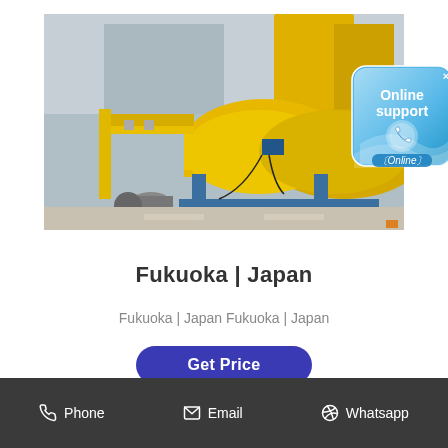[Figure (photo): Industrial yellow gas equipment installation with pipes, valves, tanks and pumps on a blue frame structure, photographed outdoors at an industrial facility in Fukuoka, Japan. An 'Online support' badge overlay appears in the top-right corner of the image.]
Fukuoka | Japan
Fukuoka | Japan Fukuoka | Japan
Get Price
Phone   Email   Whatsapp